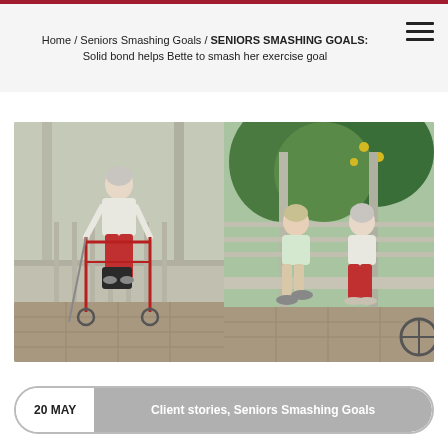Home / Seniors Smashing Goals / SENIORS SMASHING GOALS: Solid bond helps Bette to smash her exercise goal
[Figure (photo): Two side-by-side photos: left shows an elderly woman in red pants standing with a red rollator walker on a patio; right shows the same elderly woman sitting on a bench with a younger woman, both smiling, with trees in background.]
20 MAY
Client stories, Seniors Smashing Goals